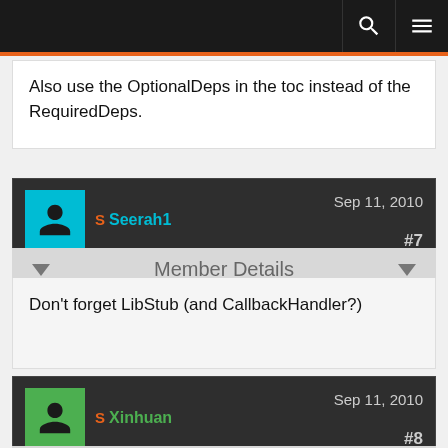Navigation bar with search and menu icons
Also use the OptionalDeps in the toc instead of the RequiredDeps.
Seerah1 — Sep 11, 2010 — #7
Member Details
Don't forget LibStub (and CallbackHandler?)
Xinhuan — Sep 11, 2010 — #8
Member Details